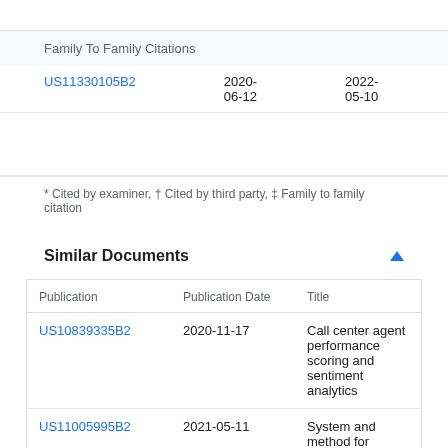Family To Family Citations
| Publication | Filing Date | Publication Date |  |
| --- | --- | --- | --- |
| US11330105B2 | 2020-06-12 | 2022-05-10 | Opt |
* Cited by examiner, † Cited by third party, ‡ Family to family citation
Similar Documents
| Publication | Publication Date | Title |
| --- | --- | --- |
| US10839335B2 | 2020-11-17 | Call center agent performance scoring and sentiment analytics |
| US11005995B2 | 2021-05-11 | System and method for performing agent |